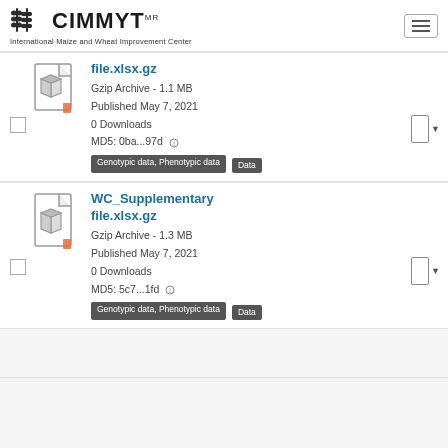CIMMYT - International Maize and Wheat Improvement Center
file.xlsx.gz
Gzip Archive - 1.1 MB
Published May 7, 2021
0 Downloads
MD5: 0ba...97d
Genotypic data, Phenotypic data
Data
WC_Supplementary file.xlsx.gz
Gzip Archive - 1.3 MB
Published May 7, 2021
0 Downloads
MD5: 5c7...1fd
Genotypic data, Phenotypic data
Data